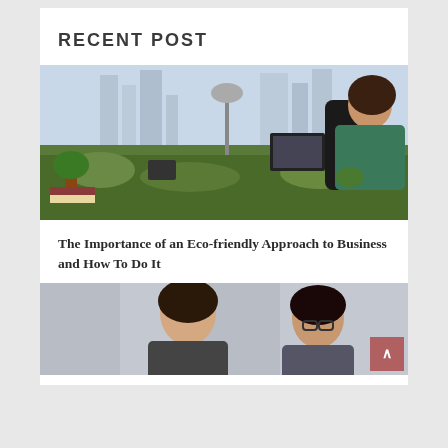RECENT POST
[Figure (photo): Woman working at a desk covered in green moss/grass with a laptop, phone, and plants. City skyline visible through large window behind her.]
The Importance of an Eco-friendly Approach to Business and How To Do It
[Figure (photo): Two people (a man and a woman with glasses) looking at something together, partially cropped at bottom of page.]